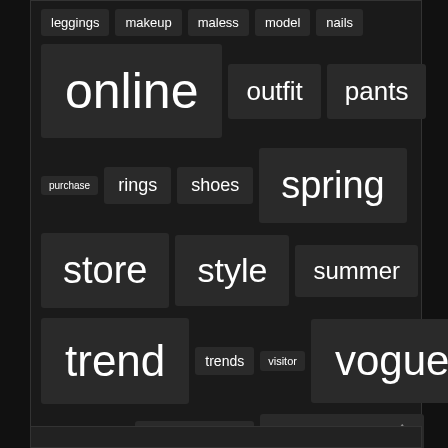[Figure (other): Tag cloud showing fashion-related keywords in varying font sizes on a dark background. Tags include: leggings, makeup, maless, model, nails, online, outfit, pants, purchase, rings, shoes, spring, store, style, summer, trend, trends, visitor, vogue, wedding, women, womens]